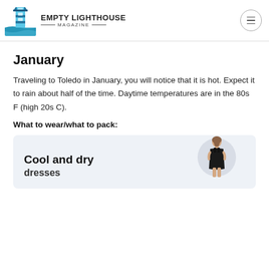EMPTY LIGHTHOUSE MAGAZINE
January
Traveling to Toledo in January, you will notice that it is hot. Expect it to rain about half of the time. Daytime temperatures are in the 80s F (high 20s C).
What to wear/what to pack:
[Figure (illustration): Product card showing 'Cool and dry dresses' text with a woman in a black dress illustration on a circular background]